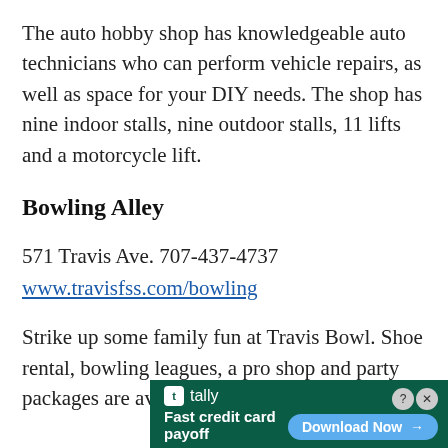The auto hobby shop has knowledgeable auto technicians who can perform vehicle repairs, as well as space for your DIY needs. The shop has nine indoor stalls, nine outdoor stalls, 11 lifts and a motorcycle lift.
Bowling Alley
571 Travis Ave. 707-437-4737
www.travisfss.com/bowling
Strike up some family fun at Travis Bowl. Shoe rental, bowling leagues, a pro shop and party packages are available.
[Figure (infographic): Advertisement banner: Tally app ad with dark green background. Logo and name 'tally' on left with tagline 'Fast credit card payoff'. Blue 'Download Now →' button on right. Close buttons (question mark and X) in top right corner.]